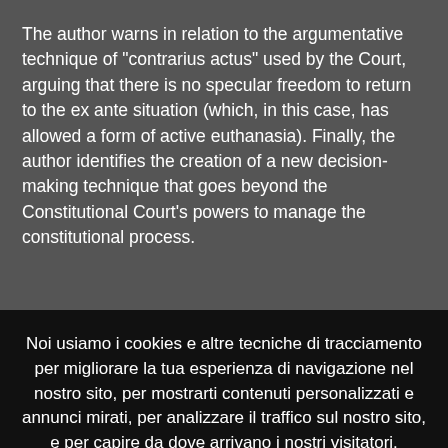The author warns in relation to the argumentative technique of "contrarius actus" used by the Court, arguing that there is no specular freedom to return to the ex ante situation (which, in this case, has allowed a form of active euthanasia). Finally, the author identifies the creation of a new decision-making technique that goes beyond the Constitutional Court's powers to manage the constitutional process.
Noi usiamo i cookies e altre tecniche di tracciamento per migliorare la tua esperienza di navigazione nel nostro sito, per mostrarti contenuti personalizzati e annunci mirati, per analizzare il traffico sul nostro sito, e per capire da dove arrivano i nostri visitatori.